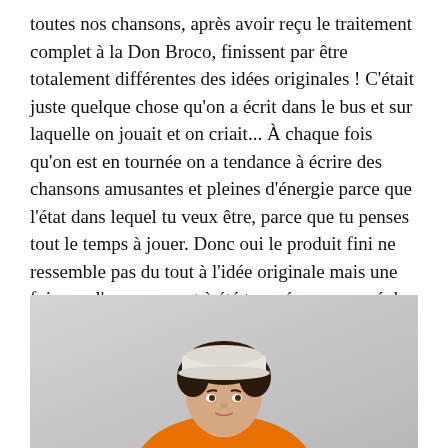toutes nos chansons, après avoir reçu le traitement complet à la Don Broco, finissent par être totalement différentes des idées originales ! C'était juste quelque chose qu'on a écrit dans le bus et sur laquelle on jouait et on criait... À chaque fois qu'on est en tournée on a tendance à écrire des chansons amusantes et pleines d'énergie parce que l'état dans lequel tu veux être, parce que tu penses tout le temps à jouer. Donc oui le produit fini ne ressemble pas du tout à l'idée originale mais une fois que l'arrangement à été trouvé on a essayé de la diriger vers ce à quoi elle ressemble aujourd'hui.
[Figure (photo): A young man with curly dark hair wearing a white cap and an orange turtleneck/jacket, looking slightly upward against a light grey background.]